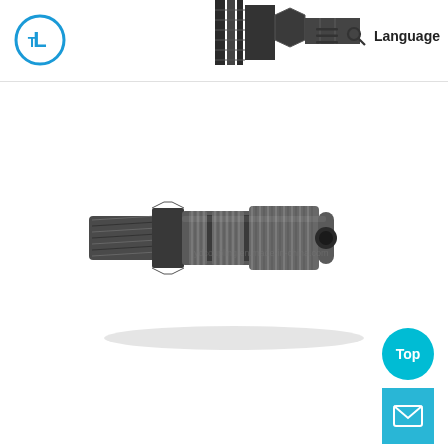[Figure (logo): Circular logo with letter L inside a circle with blue outline, company branding]
[Figure (photo): Partial view of a threaded mechanical component/quick coupler at the top of the page]
Language
[Figure (photo): Stainless steel hydraulic quick connect coupling with male threaded end (NPT or BSP), knurled body, and female socket end. Product watermark: ydcoupling.en.made-in-china.com]
[Figure (other): Teal 'Top' button (scroll-to-top) and mail envelope button in bottom right corner]